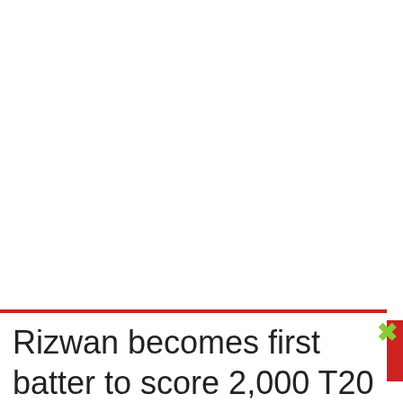Main Menu
Breaking News
Rizwan becomes first batter to score 2,000 T20 runs in single calendar year